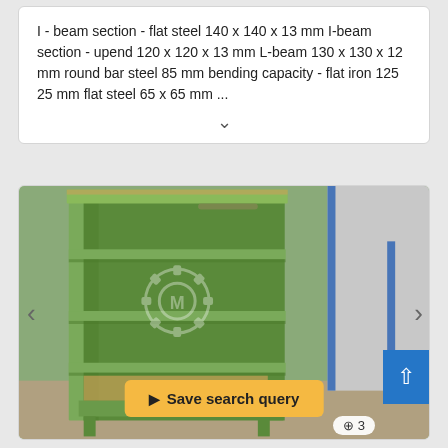I - beam section - flat steel 140 x 140 x 13 mm I-beam section - upend 120 x 120 x 13 mm L-beam 130 x 130 x 12 mm round bar steel 85 mm bending capacity - flat iron 125 25 mm flat steel 65 x 65 mm ...
[Figure (photo): Green painted metal shelving unit with four shelves, shown outdoors or in industrial setting. A watermark logo is visible in the center of the image. A yellow 'Save search query' button overlays the bottom of the image.]